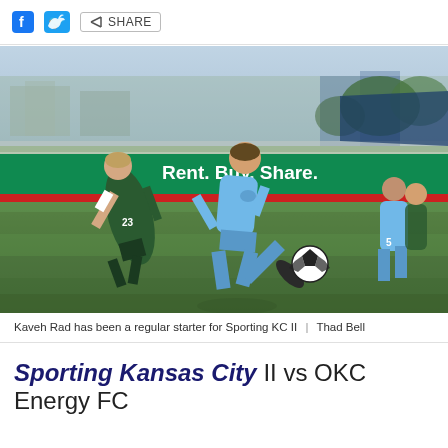social share bar with Facebook, Twitter, and Share icons
[Figure (photo): Soccer match photo: A player in light blue Sporting KC II kit taking a shot while a player in dark green kit (number 23) challenges him. Another player in light blue is visible on the right. Green field, stadium advertising boards visible in background reading 'Rent. Buy. Share.' A red advertising strip below. Background shows stands and trees.]
Kaveh Rad has been a regular starter for Sporting KC II  |  Thad Bell
Sporting Kansas City II vs OKC Energy FC